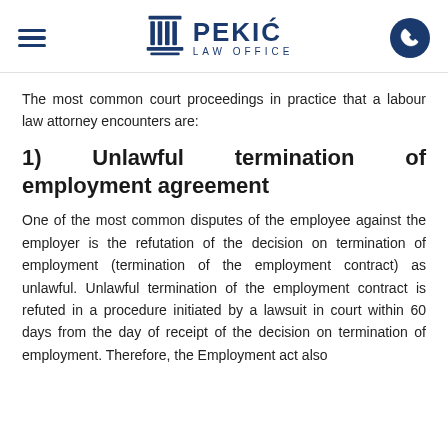PEKIĆ LAW OFFICE
The most common court proceedings in practice that a labour law attorney encounters are:
1) Unlawful termination of employment agreement
One of the most common disputes of the employee against the employer is the refutation of the decision on termination of employment (termination of the employment contract) as unlawful. Unlawful termination of the employment contract is refuted in a procedure initiated by a lawsuit in court within 60 days from the day of receipt of the decision on termination of employment. Therefore, the Employment act also